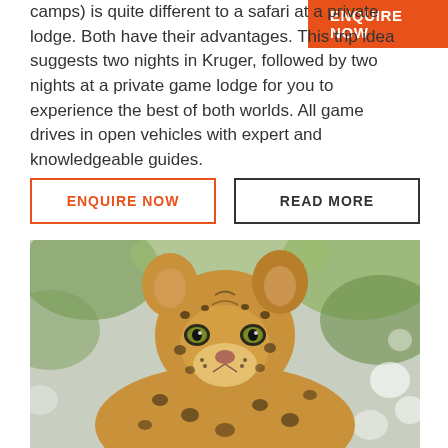camps) is quite different to a safari at a private lodge. Both have their advantages. This trip idea suggests two nights in Kruger, followed by two nights at a private game lodge for you to experience the best of both worlds. All game drives in open vehicles with expert and knowledgeable guides.
ENQUIRE NOW
ENQUIRE NOW
READ MORE
[Figure (photo): Close-up photograph of a leopard resting among green foliage, looking directly at the camera. The leopard's spotted coat and distinctive facial markings are clearly visible.]